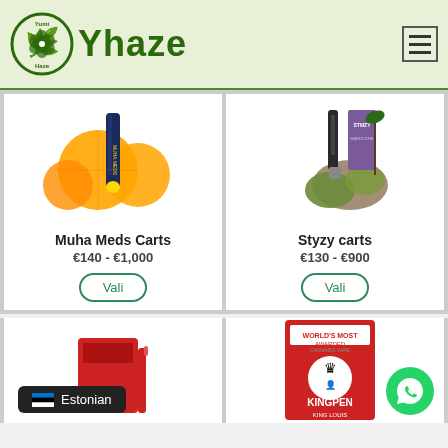[Figure (logo): Yhaze cannabis shop logo with green circle and cannabis leaf, text 'Yhaze']
[Figure (photo): Muha Meds Carts product image with orange slices and vape cartridge]
Muha Meds Carts
€140 - €1,000
Vali
[Figure (photo): Styzy carts product image with cannabis buds and STIIIZY vape cartridge]
Styzy carts
€130 - €900
Vali
[Figure (photo): Partial bottom-left product card with red packaging]
[Figure (photo): Partial bottom-right product card showing Kingpen King Louis packaging]
Estonian